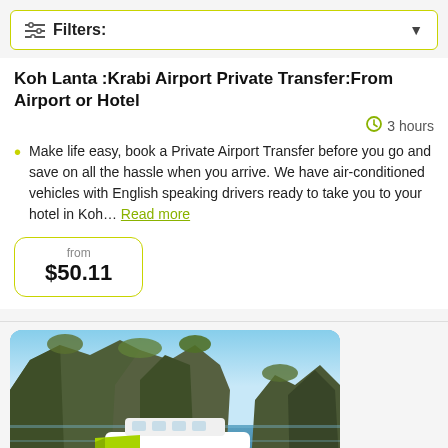Filters:
Koh Lanta :Krabi Airport Private Transfer:From Airport or Hotel
3 hours
Make life easy, book a Private Airport Transfer before you go and save on all the hassle when you arrive. We have air-conditioned vehicles with English speaking drivers ready to take you to your hotel in Koh... Read more
from $50.11
[Figure (photo): Photo of limestone karst cliffs with a white and green boat on turquoise water under a blue sky]